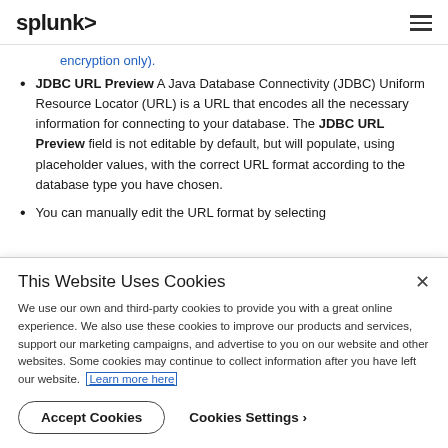splunk> [hamburger menu]
encryption only).
JDBC URL Preview A Java Database Connectivity (JDBC) Uniform Resource Locator (URL) is a URL that encodes all the necessary information for connecting to your database. The JDBC URL Preview field is not editable by default, but will populate, using placeholder values, with the correct URL format according to the database type you have chosen.
You can manually edit the URL format by selecting
This Website Uses Cookies
We use our own and third-party cookies to provide you with a great online experience. We also use these cookies to improve our products and services, support our marketing campaigns, and advertise to you on our website and other websites. Some cookies may continue to collect information after you have left our website. Learn more here
Accept Cookies   Cookies Settings ›